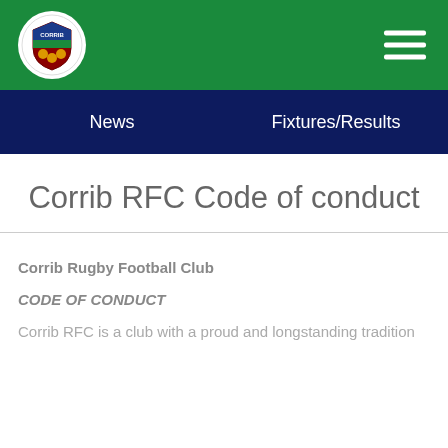[Figure (logo): Corrib RFC club logo — circular white badge with shield crest]
News   Fixtures/Results
Corrib RFC Code of conduct
Corrib Rugby Football Club
CODE OF CONDUCT
Corrib RFC is a club with a proud and longstanding tradition